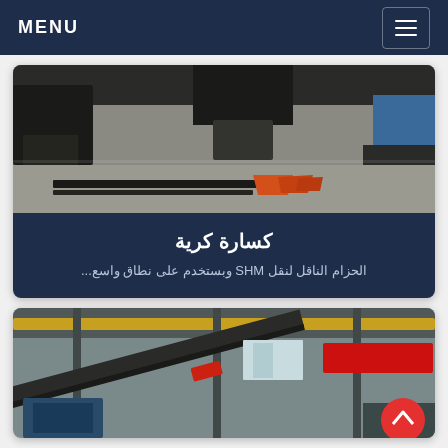MENU
[Figure (photo): Industrial factory floor showing large machinery, metal parts, and orange wedge-shaped objects on concrete floor]
كسارة كرية
الحزام الناقل لنقل SHM وبستخدم على نطاق واسع...
[Figure (photo): Interior of industrial manufacturing facility showing conveyor belts and overhead crane in a large factory hall]